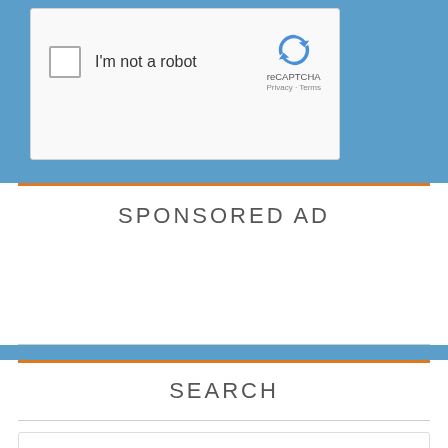[Figure (screenshot): reCAPTCHA widget with checkbox labeled 'I'm not a robot' and reCAPTCHA logo with Privacy and Terms links]
SPONSORED AD
SEARCH
Search this website